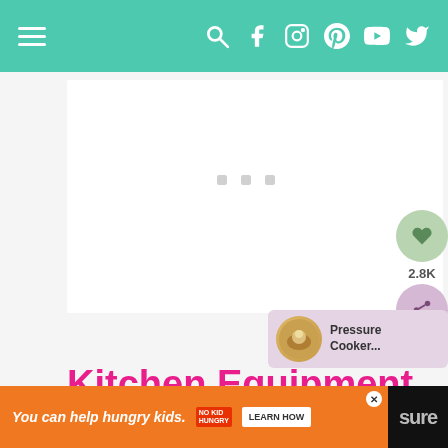Navigation bar with hamburger menu and social icons (search, facebook, instagram, pinterest, youtube, twitter)
[Figure (screenshot): White content card area with grey loading placeholder dots, social share sidebar with heart icon (green circle), share count 2.8K, share icon (purple circle), and a related article thumbnail card showing 'Pressure Cooker...' with a food image.]
Kitchen Equipment and Essentials
[Figure (other): Advertisement banner: orange background with text 'You can help hungry kids.' and No Kid Hungry logo and 'LEARN HOW' button. Black strip on right showing partial text 'sure'.]